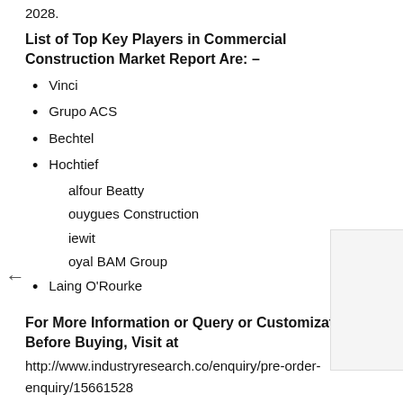2028.
List of Top Key Players in Commercial Construction Market Report Are: –
Vinci
Grupo ACS
Bechtel
Hochtief
Balfour Beatty
Bouygues Construction
Kiewit
Royal BAM Group
Laing O'Rourke
For More Information or Query or Customization Before Buying, Visit at
http://www.industryresearch.co/enquiry/pre-order-enquiry/15661528
Global Commercial Construction Market